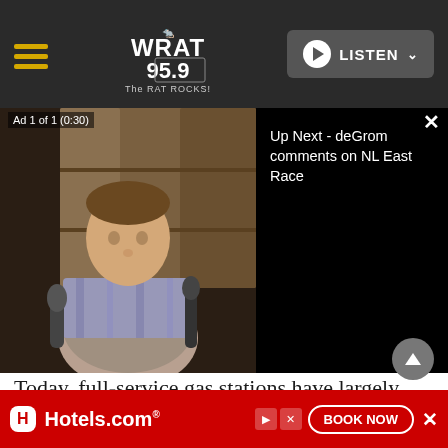WRAT 95.9 The RAT ROCKS! — LISTEN
[Figure (screenshot): Video player overlay showing a man in a locker room being interviewed, with ad label 'Ad 1 of 1 (0:30)' and 'Up Next - deGrom comments on NL East Race' panel on the right]
Today, full-service gas stations have largely gone the way of drive-in movie theatres and travel agents: While they're not entirely gone, pumping your own gas is certainly a more common practice. The slow death of full-service gas stations began in 1947 when Los Angeles gas station operator Frank Ulrich advertised cheaper prices in exchange for
[Figure (screenshot): Hotels.com advertisement banner with 'BOOK NOW' button at the bottom of the page]